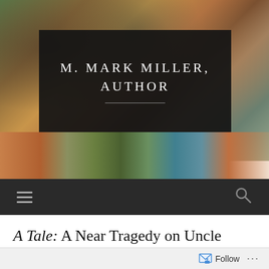[Figure (photo): Website header banner for M. Mark Miller, Author blog. Shows a dark overlay banner with the title 'M. MARK MILLER, AUTHOR' on a collage of outdoor/canyon photographs. Below is a photo strip showing canyon/nature scenes, followed by a dark navigation bar with hamburger menu and search icon.]
A Tale: A Near Tragedy on Uncle Tom's Trail